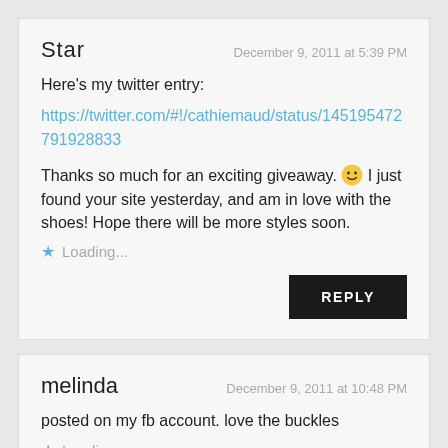Star
December 9, 2011 at 5:39 PM
Here's my twitter entry:
https://twitter.com/#!/cathiemaud/status/145195472791928833
Thanks so much for an exciting giveaway. 🙂 I just found your site yesterday, and am in love with the shoes! Hope there will be more styles soon.
Loading...
REPLY
melinda
December 9, 2011 at 10:48 PM
posted on my fb account. love the buckles
Loading...